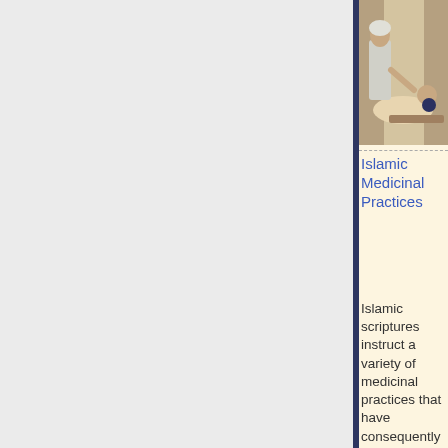[Figure (photo): Historical painting or illustration showing a medical practitioner attending to a patient lying on a table, in a classical or Islamic medieval medical setting.]
Islamic Medicinal Practices
Islamic scriptures instruct a variety of medicinal practices that have consequently been practiced through